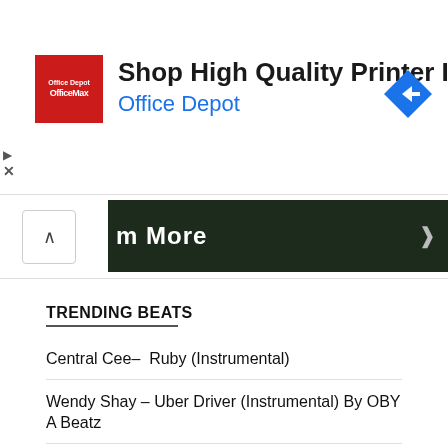[Figure (screenshot): Office Depot / OfficeMax advertisement banner: red square logo with white text, bold headline 'Shop High Quality Printer Ink', blue subtitle 'Office Depot', blue diamond navigation icon top-right]
[Figure (screenshot): Dark green/black image strip showing partial text 'm More' with a right arrow, and a white chevron-up button on the left]
TRENDING BEATS
Central Cee–  Ruby (Instrumental)
Wendy Shay – Uber Driver (Instrumental) By OBY A Beatz
Sam Smith – OASIS ft Burna Boy (Instrumental)